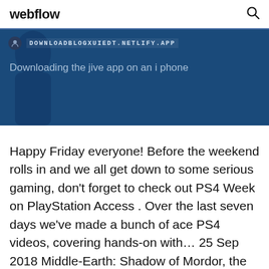webflow
[Figure (screenshot): Blue banner with avatar icon, URL DOWNLOADBLOGXUIEDT.NETLIFY.APP, and text 'Downloading the jive app on an i phone' on a dark blue background with a shadowy figure on the left]
Happy Friday everyone! Before the weekend rolls in and we all get down to some serious gaming, don't forget to check out PS4 Week on PlayStation Access . Over the last seven days we've made a bunch of ace PS4 videos, covering hands-on with… 25 Sep 2018 Middle-Earth: Shadow of Mordor, the